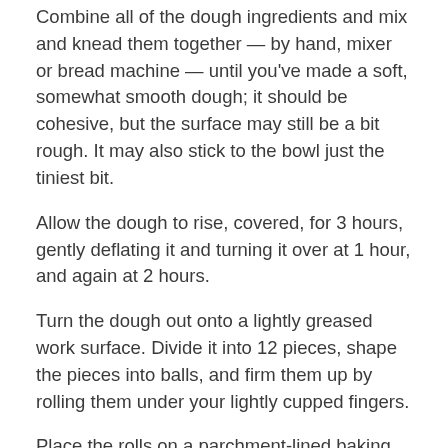Combine all of the dough ingredients and mix and knead them together — by hand, mixer or bread machine — until you've made a soft, somewhat smooth dough; it should be cohesive, but the surface may still be a bit rough. It may also stick to the bowl just the tiniest bit.
Allow the dough to rise, covered, for 3 hours, gently deflating it and turning it over at 1 hour, and again at 2 hours.
Turn the dough out onto a lightly greased work surface. Divide it into 12 pieces, shape the pieces into balls, and firm them up by rolling them under your lightly cupped fingers.
Place the rolls on a parchment-lined baking sheet, cover them, and let them rise for 1 to 2 hours, until they're puffy, though not doubled in size. They'll flatten out a bit as they rise; that's OK.